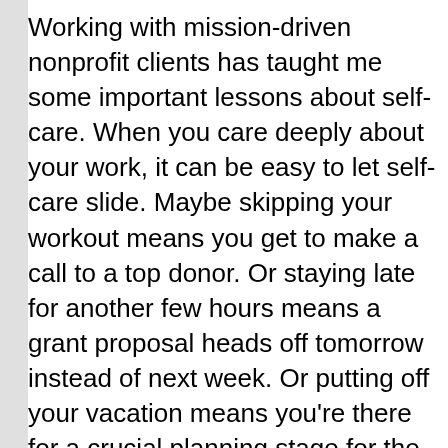Working with mission-driven nonprofit clients has taught me some important lessons about self-care. When you care deeply about your work, it can be easy to let self-care slide. Maybe skipping your workout means you get to make a call to a top donor. Or staying late for another few hours means a grant proposal heads off tomorrow instead of next week. Or putting off your vacation means you're there for a crucial planning stage for the AGM.
Not only that, but some organizational cultures give a heroic sheen to unhealthy choices. It's not poor self-care;